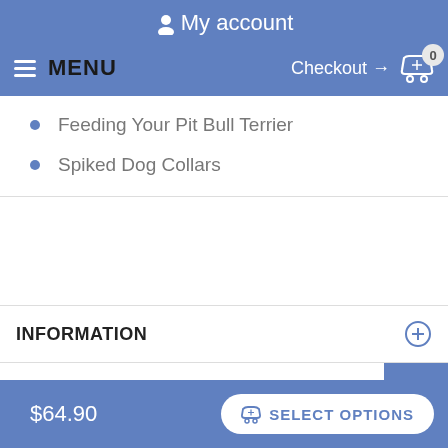My account
MENU   Checkout → 0
Feeding Your Pit Bull Terrier
Spiked Dog Collars
INFORMATION
MY ACCOUNT
$64.90   SELECT OPTIONS